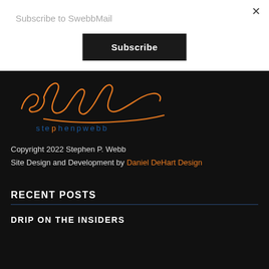Subscribe to SwebbMail
Subscribe
[Figure (logo): stephenpwebb signature logo in orange and blue on black background]
Copyright 2022 Stephen P. Webb
Site Design and Development by Daniel DeHart Design
RECENT POSTS
DRIP ON THE INSIDERS